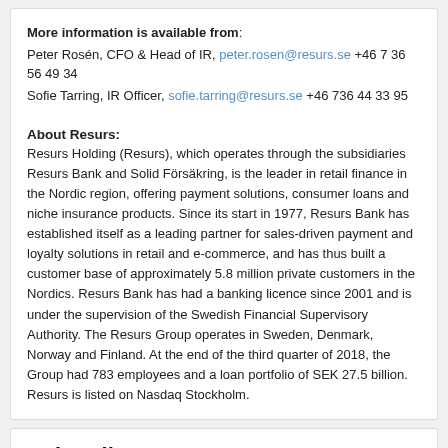More information is available from: Peter Rosén, CFO & Head of IR, peter.rosen@resurs.se +46 7 36 56 49 34
Sofie Tarring, IR Officer, sofie.tarring@resurs.se +46 736 44 33 95
About Resurs:
Resurs Holding (Resurs), which operates through the subsidiaries Resurs Bank and Solid Försäkring, is the leader in retail finance in the Nordic region, offering payment solutions, consumer loans and niche insurance products. Since its start in 1977, Resurs Bank has established itself as a leading partner for sales-driven payment and loyalty solutions in retail and e-commerce, and has thus built a customer base of approximately 5.8 million private customers in the Nordics. Resurs Bank has had a banking licence since 2001 and is under the supervision of the Swedish Financial Supervisory Authority. The Resurs Group operates in Sweden, Denmark, Norway and Finland. At the end of the third quarter of 2018, the Group had 783 employees and a loan portfolio of SEK 27.5 billion. Resurs is listed on Nasdaq Stockholm.
Subscribe